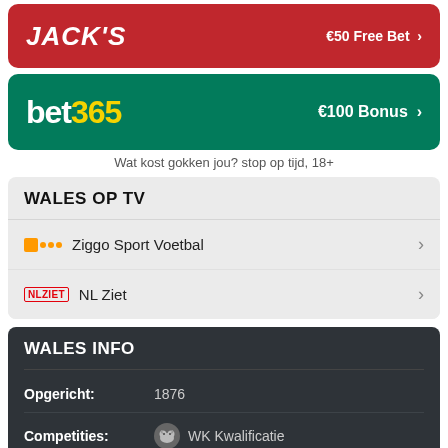[Figure (logo): Jack's casino red banner with €50 Free Bet offer]
[Figure (logo): bet365 green banner with €100 Bonus offer]
Wat kost gokken jou? stop op tijd, 18+
WALES OP TV
Ziggo Sport Voetbal
NL Ziet
WALES INFO
Opgericht: 1876
Competities: WK Kwalificatie